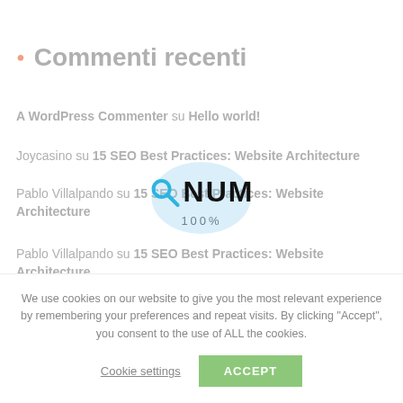Commenti recenti
A WordPress Commenter su Hello world!
Joycasino su 15 SEO Best Practices: Website Architecture
Pablo Villalpando su 15 SEO Best Practices: Website Architecture
Pablo Villalpando su 15 SEO Best Practices: Website Architecture
[Figure (logo): ONUM logo with magnifying glass icon and circular blue highlight, with '100%' text below]
We use cookies on our website to give you the most relevant experience by remembering your preferences and repeat visits. By clicking "Accept", you consent to the use of ALL the cookies.
Cookie settings  ACCEPT